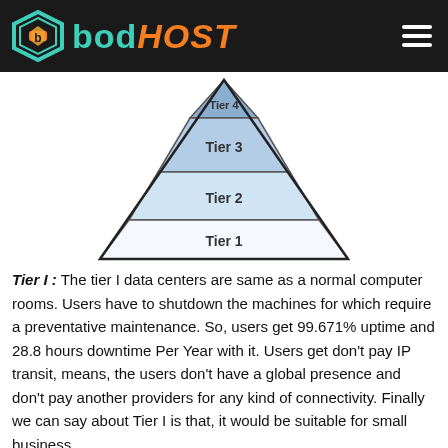bodHOST
[Figure (infographic): Pyramid diagram showing 4 data center tiers. From bottom to top: Tier 1 (white), Tier 2 (light blue), Tier 3 (medium blue), Tier 4 (dark blue, small top). Tier 4 label is partially cut off at top.]
Tier I : The tier I data centers are same as a normal computer rooms. Users have to shutdown the machines for which require a preventative maintenance. So, users get 99.671% uptime and 28.8 hours downtime Per Year with it. Users get don't pay IP transit, means, the users don't have a global presence and don't pay another providers for any kind of connectivity. Finally we can say about Tier I is that, it would be suitable for small business.